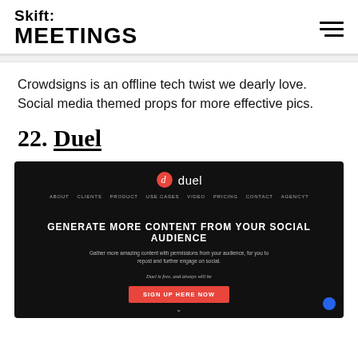Skift MEETINGS
Crowdsigns is an offline tech twist we dearly love. Social media themed props for more effective pics.
22. Duel
[Figure (screenshot): Screenshot of the Duel website homepage with dark background, showing the Duel logo, navigation links (ABOUT, CLIENTS, PRODUCT, USE CASES, VIDEO, PRICING, CONTACT, AGENCY), headline 'GENERATE MORE CONTENT FROM YOUR SOCIAL AUDIENCE', subtext 'Gather more amazing content with permissions from your audience, for you to repost and further engage on social.', italic text 'Duel is free, and always will be', and a red 'SIGN UP HERE NOW' button.]